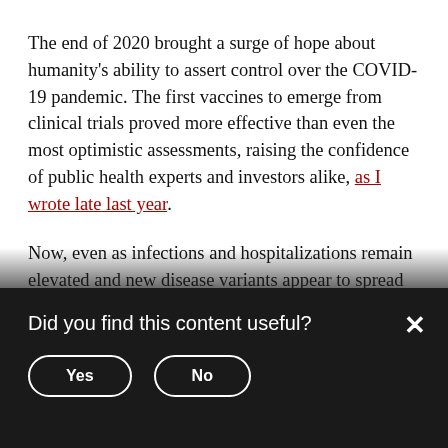The end of 2020 brought a surge of hope about humanity's ability to assert control over the COVID-19 pandemic. The first vaccines to emerge from clinical trials proved more effective than even the most optimistic assessments, raising the confidence of public health experts and investors alike, as I wrote late last year.
Now, even as infections and hospitalizations remain elevated and new disease variants appear to spread more quickly, we remain confident that the developed world will begin to show meaningful
Did you find this content useful?